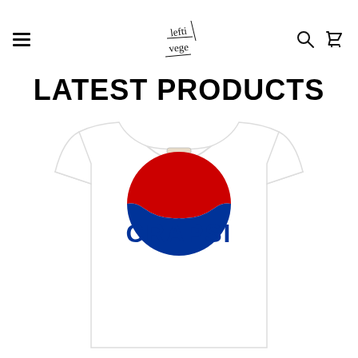Lefti Vege — navigation header with logo, menu, search, and cart icons
LATEST PRODUCTS
[Figure (photo): White t-shirt with a Pepsi-style parody logo reading 'CRAPSI' in blue bold letters, with the classic red and blue globe design]